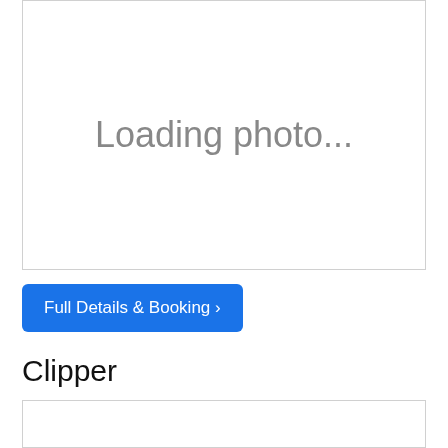[Figure (photo): Photo loading placeholder box with 'Loading photo...' text]
Full Details & Booking >
Clipper
[Figure (photo): Second photo loading placeholder box, empty]